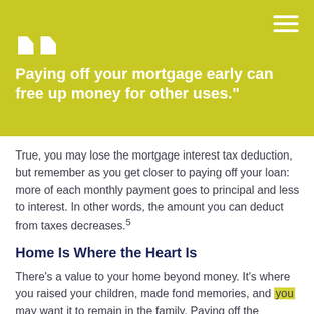Paying off your mortgage early can free up money for other uses."
True, you may lose the mortgage interest tax deduction, but remember as you get closer to paying off your loan: more of each monthly payment goes to principal and less to interest. In other words, the amount you can deduct from taxes decreases.5
Home Is Where the Heart Is
There's a value to your home beyond money. It's where you raised your children, made fond memories, and you may want it to remain in the family. Paying off the mortgage may help make your home part of your legacy.